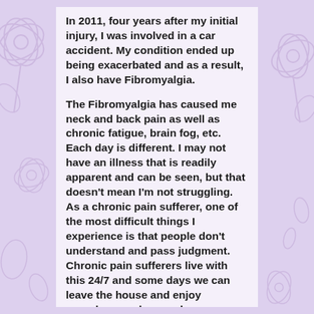In 2011, four years after my initial injury, I was involved in a car accident. My condition ended up being exacerbated and as a result, I also have Fibromyalgia.
The Fibromyalgia has caused me neck and back pain as well as chronic fatigue, brain fog, etc. Each day is different. I may not have an illness that is readily apparent and can be seen, but that doesn't mean I'm not struggling. As a chronic pain sufferer, one of the most difficult things I experience is that people don't understand and pass judgment. Chronic pain sufferers live with this 24/7 and some days we can leave the house and enjoy ourselves, and some days we can hardly get out of bed. I've certainly been judged and told "Oh, but you look great or you look healthy." You might see me out on a Friday night, but what you don't know, it's probably taking everything I've got to make it through the